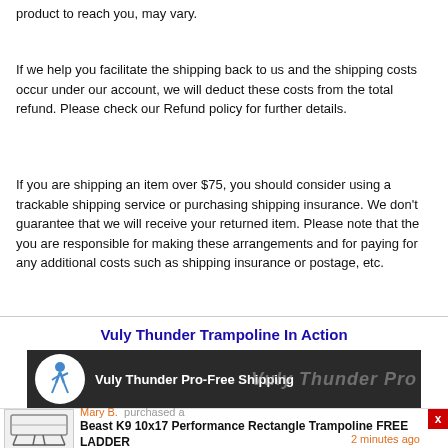product to reach you, may vary.
If we help you facilitate the shipping back to us and the shipping costs occur under our account, we will deduct these costs from the total refund. Please check our Refund policy for further details.
If you are shipping an item over $75, you should consider using a trackable shipping service or purchasing shipping insurance. We don't guarantee that we will receive your returned item. Please note that the you are responsible for making these arrangements and for paying for any additional costs such as shipping insurance or postage, etc.
Vuly Thunder Trampoline In Action
[Figure (screenshot): Video thumbnail showing 'Vuly Thunder Pro-Free Shipping' with a blue running figure icon on dark background and Vuly Thunder Pro watermark text]
[Figure (photo): Notification bar showing Mary B. purchased a Beast K9 10x17 Performance Rectangle Trampoline FREE LADDER, with product image, purchase time '2 minutes ago', and a red X close button]